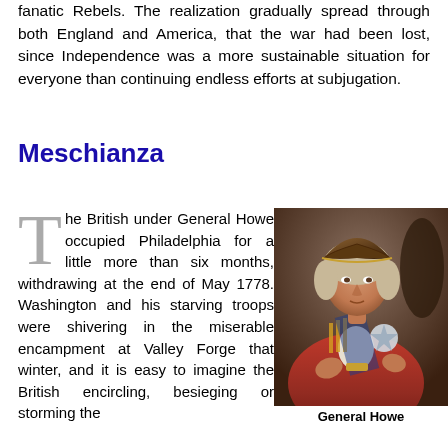fanatic Rebels. The realization gradually spread through both England and America, that the war had been lost, since Independence was a more sustainable situation for everyone than continuing endless efforts at subjugation.
Meschianza
The British under General Howe occupied Philadelphia for a little more than six months, withdrawing at the end of May 1778. Washington and his starving troops were shivering in the miserable encampment at Valley Forge that winter, and it is easy to imagine the British encircling, besieging or storming the
[Figure (photo): Portrait painting of General Howe in British military uniform (red coat) with tricorn hat.]
General Howe